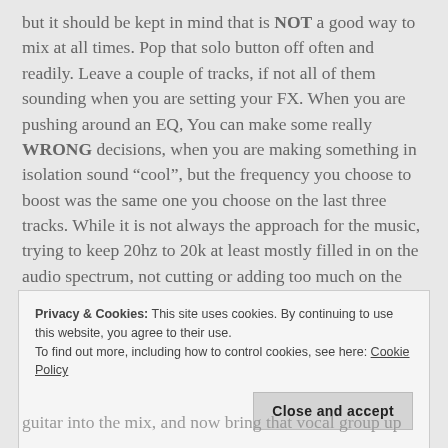but it should be kept in mind that is NOT a good way to mix at all times. Pop that solo button off often and readily. Leave a couple of tracks, if not all of them sounding when you are setting your FX. When you are pushing around an EQ, You can make some really WRONG decisions, when you are making something in isolation sound “cool”, but the frequency you choose to boost was the same one you choose on the last three tracks. While it is not always the approach for the music, trying to keep 20hz to 20k at least mostly filled in on the audio spectrum, not cutting or adding too much on the same spot is a mentality to start with.
Privacy & Cookies: This site uses cookies. By continuing to use this website, you agree to their use.
To find out more, including how to control cookies, see here: Cookie Policy
Close and accept
guitar into the mix, and now bring that vocal group up